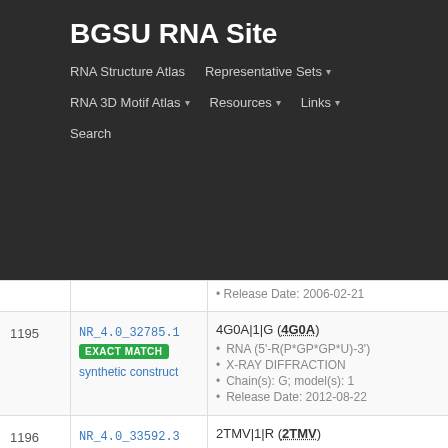BGSU RNA Site
RNA Structure Atlas | Representative Sets | RNA 3D Motif Atlas | Resources | Links | Search
| # | NR Set | Structure Info |
| --- | --- | --- |
|  |  | Release Date: 2006-02-21 |
| 1195 | NR_4.0_32785.1 EXACT MATCH synthetic construct | 4G0A|1|G (4G0A) • RNA (5'-R(P*GP*GP*U)-3') • X-RAY DIFFRACTION • Chain(s): G; model(s): 1 • Release Date: 2012-08-22 |
| 1196 | NR_4.0_33592.3 EXACT MATCH | 2TMV|1|R (2TMV) • RNA (5'-R(P*GP*AP*A)-3'), RIBGRASS M... • FIBER DIFFRACTION • Chain(s): R; model(s): 1 • Release Date: 1989-01-09 |
| 1197 | NR_4.0_35293.2 | 3P6Y|1|V (3P6Y) |